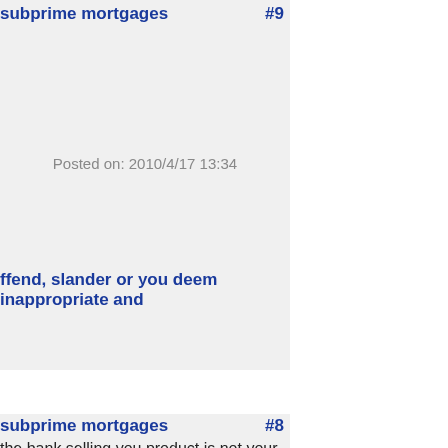subprime mortgages
#9
Posted on: 2010/4/17 13:34
ffend, slander or you deem inappropriate and
subprime mortgages
#8
the bank selling you product is not your friend. End